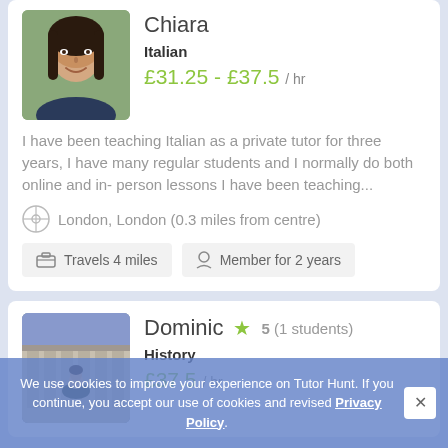[Figure (photo): Profile photo of Chiara, a young woman with dark hair, smiling, outdoors]
Chiara
Italian
£31.25 - £37.5 / hr
I have been teaching Italian as a private tutor for three years, I have many regular students and I normally do both online and in- person lessons I have been teaching...
London, London (0.3 miles from centre)
Travels 4 miles
Member for 2 years
[Figure (photo): Profile photo of Dominic, a man standing in front of a grand building, formal attire]
Dominic
5 (1 students)
History
£37.5 / hr
We use cookies to improve your experience on Tutor Hunt. If you continue, you accept our use of cookies and revised Privacy Policy.